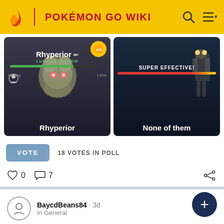POKÉMON GO WIKI
[Figure (screenshot): Poll with two options: Rhyperior (Pokemon Go screenshot) and None of them (battle screenshot with SUPER EFFECTIVE!)]
VOTE  18 VOTES IN POLL
0  7
BaycdBeans84 · 3d
in General
What Leagues have you used Leavanny in
Great